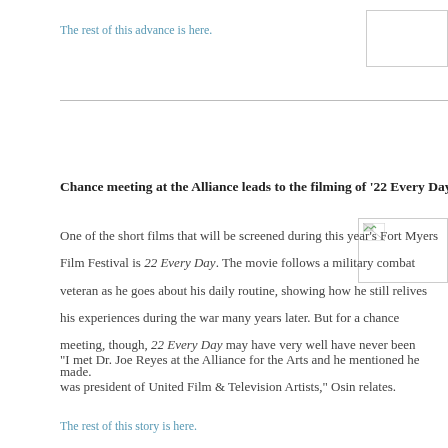The rest of this advance is here.
[Figure (photo): Broken image placeholder in top right corner]
Chance meeting at the Alliance leads to the filming of ‘22 Every Day’
[Figure (photo): Broken image placeholder in right side]
One of the short films that will be screened during this year’s Fort Myers Film Festival is 22 Every Day. The movie follows a military combat veteran as he goes about his daily routine, showing how he still relives his experiences during the war many years later. But for a chance meeting, though, 22 Every Day may have very well have never been made.
“I met Dr. Joe Reyes at the Alliance for the Arts and he mentioned he was president of United Film & Television Artists,” Osin relates.
The rest of this story is here.